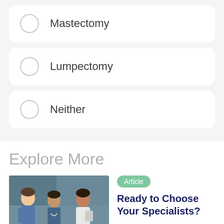Mastectomy
Lumpectomy
Neither
Explore More
[Figure (photo): Medical professionals in scrubs and white coat conversing in a clinical setting]
Article
Ready to Choose Your Specialists?